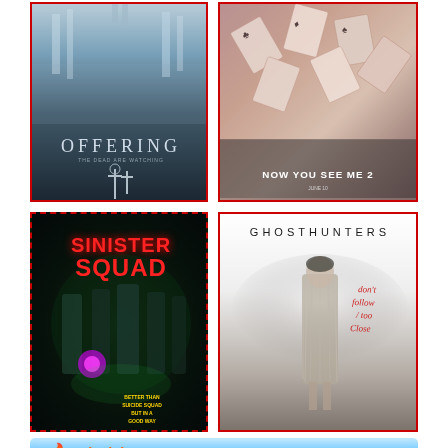[Figure (photo): Movie poster for 'Offering' - horror film with icy blue tones, gothic cross symbol at bottom, frozen figures at top]
[Figure (photo): Movie poster for 'Now You See Me 2' - playing cards falling in geometric patterns, characters standing below]
[Figure (photo): Movie poster for 'Sinister Squad' - green-tinted dark background with armed characters, red glowing orb]
[Figure (photo): Movie poster for 'Ghosthunters' - light grey background, young girl in grey dress standing alone, red handwritten text 'don't follow / too close']
Television
view all >
[Figure (photo): TV show poster for 'Altered Carbon' - dark green cyberpunk cityscape with characters]
[Figure (photo): TV show poster for 'Stranger Things' - red glowing monster silhouette with characters below]